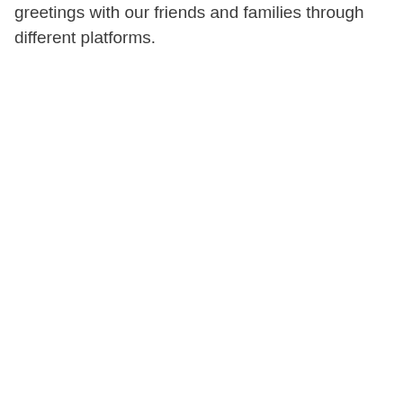greetings with our friends and families through different platforms.